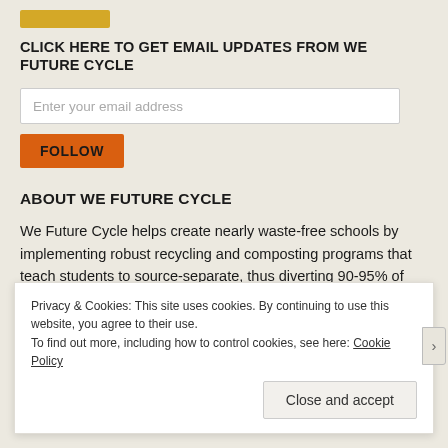[Figure (logo): Orange/gold colored logo bar at top]
CLICK HERE TO GET EMAIL UPDATES FROM WE FUTURE CYCLE
Enter your email address
FOLLOW
ABOUT WE FUTURE CYCLE
We Future Cycle helps create nearly waste-free schools by implementing robust recycling and composting programs that teach students to source-separate, thus diverting 90-95% of waste into recycling and composting streams. Additional text continues below.
Privacy & Cookies: This site uses cookies. By continuing to use this website, you agree to their use.
To find out more, including how to control cookies, see here: Cookie Policy
Close and accept